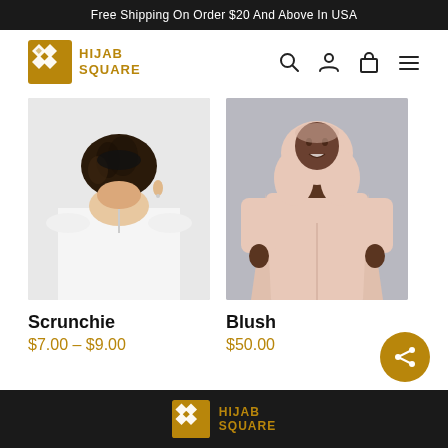Free Shipping On Order $20 And Above In USA
[Figure (logo): Hijab Square logo with golden diamond pattern icon and text HIJAB SQUARE]
[Figure (photo): Back view of woman with braided updo hair wearing white blouse]
Scrunchie
$7.00 – $9.00
[Figure (photo): Woman wearing peach/blush colored hijab and long blush abaya, standing against gray background]
Blush
$50.00
HIJAB SQUARE